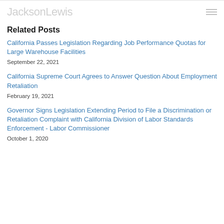JacksonLewis
Related Posts
California Passes Legislation Regarding Job Performance Quotas for Large Warehouse Facilities
September 22, 2021
California Supreme Court Agrees to Answer Question About Employment Retaliation
February 19, 2021
Governor Signs Legislation Extending Period to File a Discrimination or Retaliation Complaint with California Division of Labor Standards Enforcement - Labor Commissioner
October 1, 2020